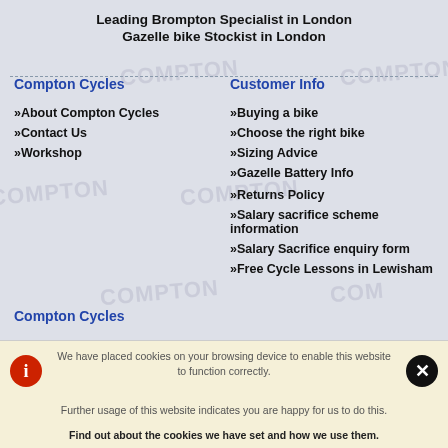Leading Brompton Specialist in London
Gazelle bike Stockist in London
Compton Cycles
Customer Info
»About Compton Cycles
»Contact Us
»Workshop
»Buying a bike
»Choose the right bike
»Sizing Advice
»Gazelle Battery Info
»Returns Policy
»Salary sacrifice scheme information
»Salary Sacrifice enquiry form
»Free Cycle Lessons in Lewisham
Compton Cycles
We have placed cookies on your browsing device to enable this website to function correctly.
Further usage of this website indicates you are happy for us to do this.
Find out about the cookies we have set and how we use them.